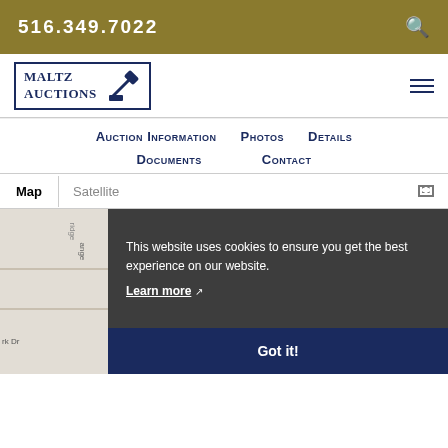516.349.7022
[Figure (logo): Maltz Auctions logo with gavel icon inside a rectangular border]
Auction Information   Photos   Details   Documents   Contact
[Figure (map): Google Maps embed showing map and satellite tabs, with partial street labels including 'rk Dr']
This website uses cookies to ensure you get the best experience on our website.
Learn more
Got it!